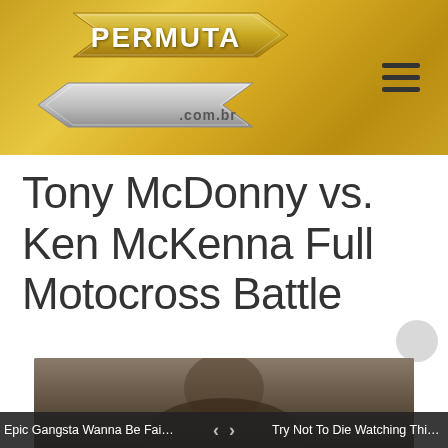[Figure (logo): Permuta.com.br logo on gold/metallic background with arrow shapes and hamburger menu icon]
Tony McDonny vs. Ken McKenna Full Motocross Battle
[Figure (photo): Partial video thumbnail showing a face/helmet, dark background]
Epic Gangsta Wanna Be Fail. Don'... < > Try Not To Die Watching This PO...